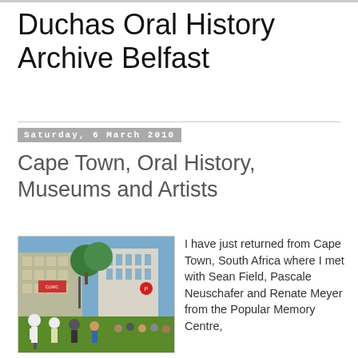Duchas Oral History Archive Belfast
Saturday, 6 March 2010
Cape Town, Oral History, Museums and Artists
[Figure (photo): Outdoor scene in Cape Town showing people on a grassy area in front of urban buildings. Some individuals appear to be performing or dancing. Trees and city buildings visible in background.]
I have just returned from Cape Town, South Africa where I met with Sean Field, Pascale Neuschafer and Renate Meyer from the Popular Memory Centre,